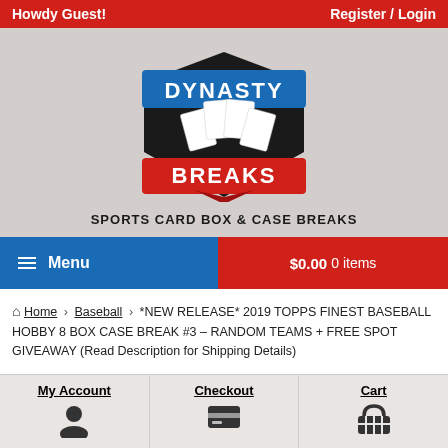Howdy Guest!   Register / Login
[Figure (logo): Dynasty Breaks logo — shield with playing cards, blue banner reading DYNASTY on top, red banner reading BREAKS on bottom]
Sports Card Box & Case Breaks
Menu   $0.00 0 items
Home › Baseball › *NEW RELEASE* 2019 TOPPS FINEST BASEBALL HOBBY 8 BOX CASE BREAK #3 – RANDOM TEAMS + FREE SPOT GIVEAWAY (Read Description for Shipping Details)
My Account   Checkout   Cart